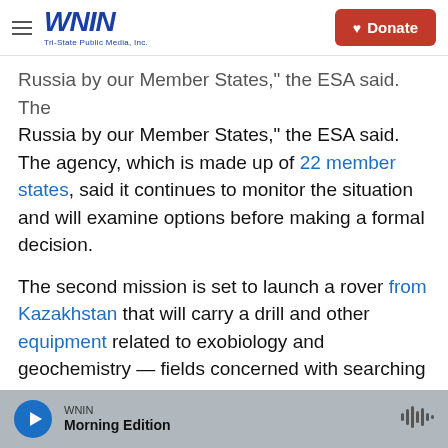WNIN - Tri-State Public Media, Inc. | Donate
...by our Member States," the ESA said. The agency, which is made up of 22 member states, said it continues to monitor the situation and will examine options before making a formal decision.
The second mission is set to launch a rover from Kazakhstan that will carry a drill and other equipment related to exobiology and geochemistry — fields concerned with searching for life outside Earth and the chemical composition of Earth's rocks and minerals, respectively.
Copyright 2022 NPR. To see more, visit
WNIN - Morning Edition